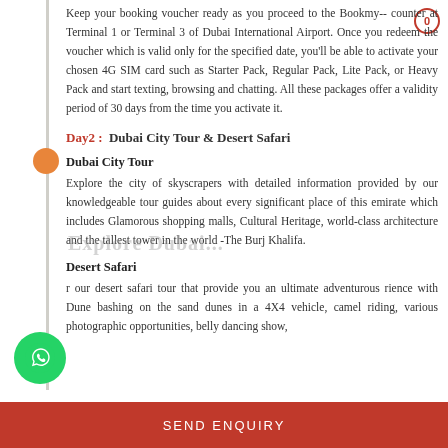Keep your booking voucher ready as you proceed to the Bookmy-- counter at Terminal 1 or Terminal 3 of Dubai International Airport. Once you redeem the voucher which is valid only for the specified date, you'll be able to activate your chosen 4G SIM card such as Starter Pack, Regular Pack, Lite Pack, or Heavy Pack and start texting, browsing and chatting. All these packages offer a validity period of 30 days from the time you activate it.
Day2 :  Dubai City Tour & Desert Safari
Dubai City Tour
Explore the city of skyscrapers with detailed information provided by our knowledgeable tour guides about every significant place of this emirate which includes Glamorous shopping malls, Cultural Heritage, world-class architecture and the tallest tower in the world -The Burj Khalifa.
Desert Safari
r our desert safari tour that provide you an ultimate adventurous rience with Dune bashing on the sand dunes in a 4X4 vehicle, camel riding, various photographic opportunities, belly dancing show,